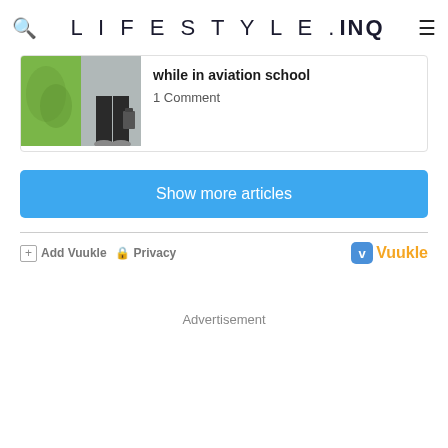LIFESTYLE.INQ
[Figure (screenshot): Article thumbnail showing a green bag and a person standing in dark pants with luggage]
while in aviation school
1 Comment
Show more articles
Add Vuukle  Privacy
[Figure (logo): Vuukle logo in yellow/gold text with blue badge icon]
Advertisement